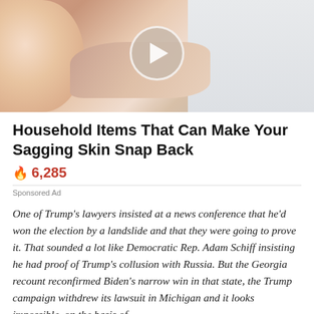[Figure (photo): Close-up photo of skin with a hand touching it; a play button circle overlay is centered on the image, indicating a video thumbnail.]
Household Items That Can Make Your Sagging Skin Snap Back
🔥 6,285
Sponsored Ad
One of Trump's lawyers insisted at a news conference that he'd won the election by a landslide and that they were going to prove it. That sounded a lot like Democratic Rep. Adam Schiff insisting he had proof of Trump's collusion with Russia. But the Georgia recount reconfirmed Biden's narrow win in that state, the Trump campaign withdrew its lawsuit in Michigan and it looks impossible, on the basis of